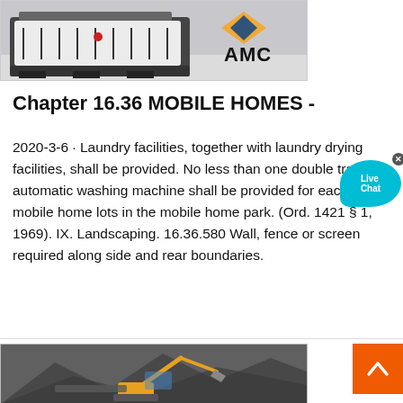[Figure (photo): Industrial machine (crusher/shredder) in a warehouse facility with AMC logo visible]
Chapter 16.36 MOBILE HOMES -
2020-3-6 · Laundry facilities, together with laundry drying facilities, shall be provided. No less than one double tray or automatic washing machine shall be provided for each 20 mobile home lots in the mobile home park. (Ord. 1421 § 1, 1969). IX. Landscaping. 16.36.580 Wall, fence or screen required along side and rear boundaries.
[Figure (photo): Aerial view of excavator/crane machinery operating in a quarry or mining site]